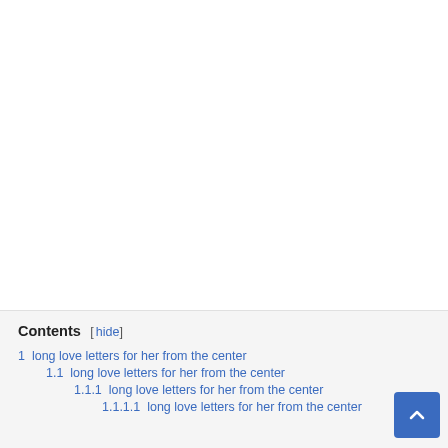| Contents |
| --- |
| 1 long love letters for her from the center |
| 1.1 long love letters for her from the center |
| 1.1.1 long love letters for her from the center |
| 1.1.1.1 long love letters for her from the center |